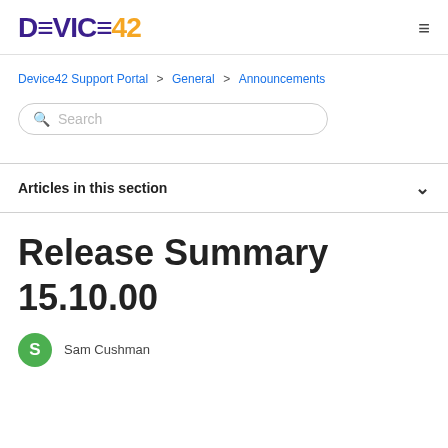DEVICE42
Device42 Support Portal > General > Announcements
Search
Articles in this section
Release Summary 15.10.00
Sam Cushman